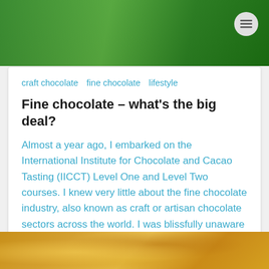[Figure (photo): Green background header image of a website]
craft chocolate   fine chocolate   lifestyle
Fine chocolate – what's the big deal?
Almost a year ago, I embarked on the International Institute for Chocolate and Cacao Tasting (IICCT) Level One and Level Two courses. I knew very little about the fine chocolate industry, also known as craft or artisan chocolate sectors across the world. I was blissfully unaware [...]
by Gillian Shaw   on Dec 30
Read more →
[Figure (photo): Bottom portion of a food photo showing golden brown pastries or snacks]